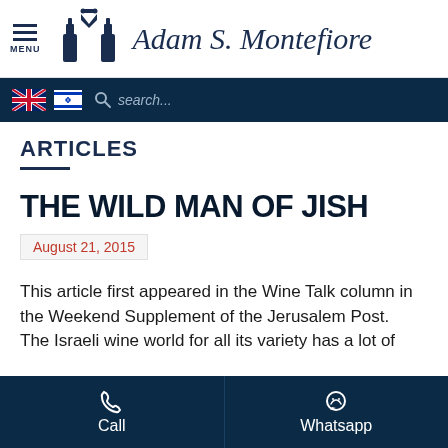Adam S. Montefiore
ARTICLES
THE WILD MAN OF JISH
August 21, 2015
This article first appeared in the Wine Talk column in the Weekend Supplement of the Jerusalem Post.
The Israeli wine world for all its variety has a lot of
Call   Whatsapp